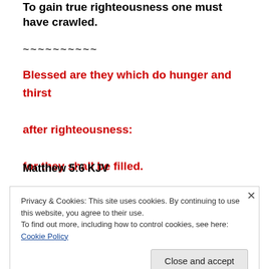To gain true righteousness one must have crawled.
~~~~~~~~~~
Blessed are they which do hunger and thirst after righteousness: for they shall be filled.
Matthew 5:6 KJV
Privacy & Cookies: This site uses cookies. By continuing to use this website, you agree to their use. To find out more, including how to control cookies, see here: Cookie Policy